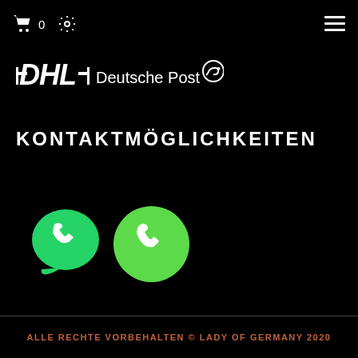0  ☰
[Figure (logo): DHL Deutsche Post logo with post horn icon on black background]
KONTAKTMÖGLICHKEITEN
[Figure (illustration): Two circular phone icons: green WhatsApp icon with speech bubble and white phone handset, and plain green circle with white phone handset]
ALLE RECHTE VORBEHALTEN © LADY OF GERMANY 2020